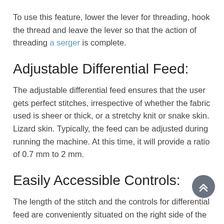To use this feature, lower the lever for threading, hook the thread and leave the lever so that the action of threading a serger is complete.
Adjustable Differential Feed:
The adjustable differential feed ensures that the user gets perfect stitches, irrespective of whether the fabric used is sheer or thick, or a stretchy knit or snake skin. Lizard skin. Typically, the feed can be adjusted during running the machine. At this time, it will provide a ratio of 0.7 mm to 2 mm.
Easily Accessible Controls:
The length of the stitch and the controls for differential feed are conveniently situated on the right side of the